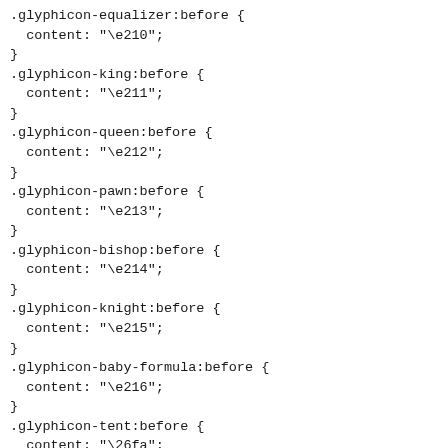.glyphicon-equalizer:before {
  content: "\e210";
}
.glyphicon-king:before {
  content: "\e211";
}
.glyphicon-queen:before {
  content: "\e212";
}
.glyphicon-pawn:before {
  content: "\e213";
}
.glyphicon-bishop:before {
  content: "\e214";
}
.glyphicon-knight:before {
  content: "\e215";
}
.glyphicon-baby-formula:before {
  content: "\e216";
}
.glyphicon-tent:before {
  content: "\26fa";
}
.glyphicon-blackboard:before {
  content: "\e218";
}
.glyphicon-bed:before {
  content: "\e219";
}